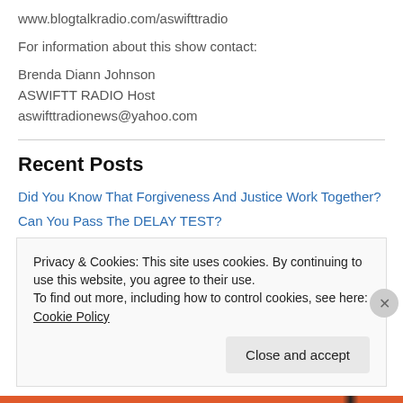www.blogtalkradio.com/aswifttradio
For information about this show contact:
Brenda Diann Johnson
ASWIFTT RADIO Host
aswifttradionews@yahoo.com
Recent Posts
Did You Know That Forgiveness And Justice Work Together?
Can You Pass The DELAY TEST?
Seasoned Believers Point You To The Word Of God For Truth
Privacy & Cookies: This site uses cookies. By continuing to use this website, you agree to their use. To find out more, including how to control cookies, see here: Cookie Policy
Close and accept